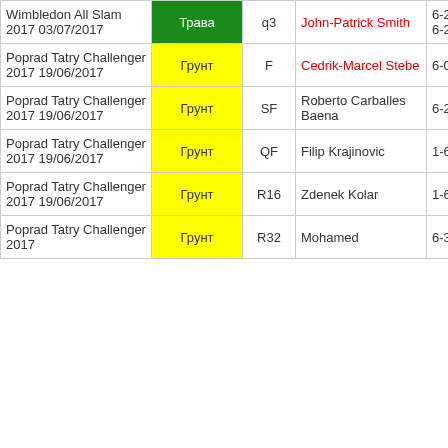| Tournament | Surface | Round | Opponent | Score |
| --- | --- | --- | --- | --- |
| Wimbledon All Slam 2017 03/07/2017 | Трава | q3 | John-Patrick Smith | 6-2 6-7(5) 6-2 |
| Poprad Tatry Challenger 2017 19/06/2017 | Грунт | F | Cedrik-Marcel Stebe | 6-0 6-3 |
| Poprad Tatry Challenger 2017 19/06/2017 | Грунт | SF | Roberto Carballes Baena | 6-2 7-5 |
| Poprad Tatry Challenger 2017 19/06/2017 | Грунт | QF | Filip Krajinovic | 1-6 6-4 7-5 |
| Poprad Tatry Challenger 2017 19/06/2017 | Грунт | R16 | Zdenek Kolar | 1-6 7-5 7-5 |
| Poprad Tatry Challenger 2017 | Грунт | R32 | Mohamed | 6-3 6-2 |